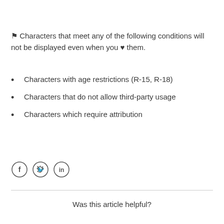⚑ Characters that meet any of the following conditions will not be displayed even when you ♥ them.
Characters with age restrictions (R-15, R-18)
Characters that do not allow third-party usage
Characters which require attribution
[Figure (other): Social media share icons: Facebook, Twitter, LinkedIn — each in a circle outline]
Was this article helpful?